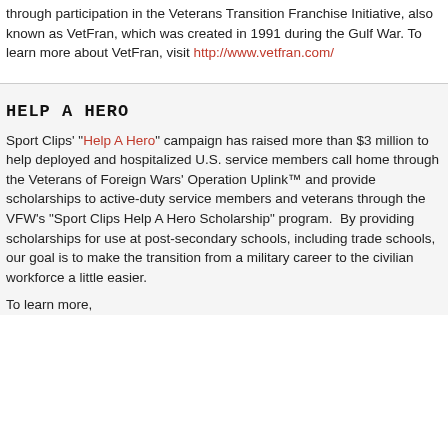through participation in the Veterans Transition Franchise Initiative, also known as VetFran, which was created in 1991 during the Gulf War. To learn more about VetFran, visit http://www.vetfran.com/
HELP A HERO
Sport Clips' "Help A Hero" campaign has raised more than $3 million to help deployed and hospitalized U.S. service members call home through the Veterans of Foreign Wars' Operation Uplink™ and provide scholarships to active-duty service members and veterans through the VFW's "Sport Clips Help A Hero Scholarship" program.  By providing scholarships for use at post-secondary schools, including trade schools, our goal is to make the transition from a military career to the civilian workforce a little easier.
To learn more,